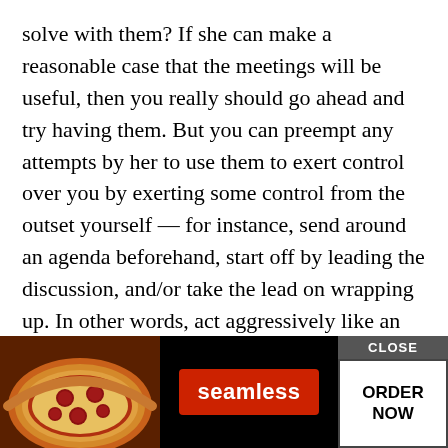solve with them? If she can make a reasonable case that the meetings will be useful, then you really should go ahead and try having them. But you can preempt any attempts by her to use them to exert control over you by exerting some control from the outset yourself — for instance, send around an agenda beforehand, start off by leading the discussion, and/or take the lead on wrapping up. In other words, act aggressively like an equal, not someone she can push around.

Alternately, if the meetings really won't have value, it's fine to... think every... n
[Figure (other): Seamless food delivery advertisement overlay at bottom of page showing pizza image on left, red Seamless button in center, and ORDER NOW button with CLOSE bar on right]